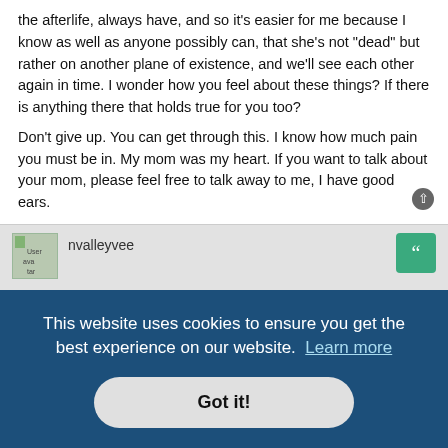the afterlife, always have, and so it's easier for me because I know as well as anyone possibly can, that she's not "dead" but rather on another plane of existence, and we'll see each other again in time. I wonder how you feel about these things? If there is anything there that holds true for you too?
Don't give up. You can get through this. I know how much pain you must be in. My mom was my heart. If you want to talk about your mom, please feel free to talk away to me, I have good ears.
nvalleyvee
n my life.
n name. I already miss them soooo much. We talked at least once a month.
This website uses cookies to ensure you get the best experience on our website. Learn more
Got it!